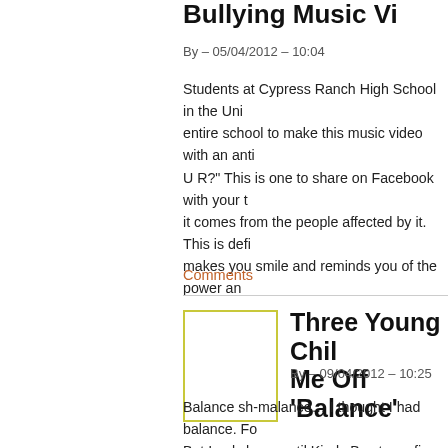Bullying Music Vi...
By – 05/04/2012 – 10:04
Students at Cypress Ranch High School in the Uni... entire school to make this music video with an anti... U R?" This is one to share on Facebook with your ... it comes from the people affected by it. This is defi... makes you smile and reminds you of the power an...
Comments
Three Young Chil... Me Off 'Balance'...
By – 09/04/2012 – 10:25
Balance sh-malance… I thought I had balance. Fo... But I only have until Kindy Boy turns five in a few w... swimming lesson changes and he moves up to ano... Lobsters or something and then this time slot for hi... brain went into melt down.
Comments